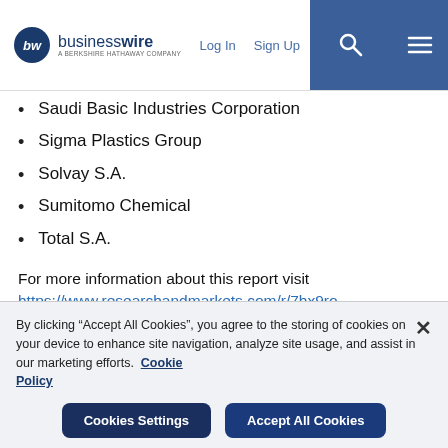businesswire — A Berkshire Hathaway Company | Log In | Sign Up
Saudi Basic Industries Corporation
Sigma Plastics Group
Solvay S.A.
Sumitomo Chemical
Total S.A.
For more information about this report visit https://www.researchandmarkets.com/r/7hx9ro
By clicking “Accept All Cookies”, you agree to the storing of cookies on your device to enhance site navigation, analyze site usage, and assist in our marketing efforts. Cookie Policy
Cookies Settings | Accept All Cookies